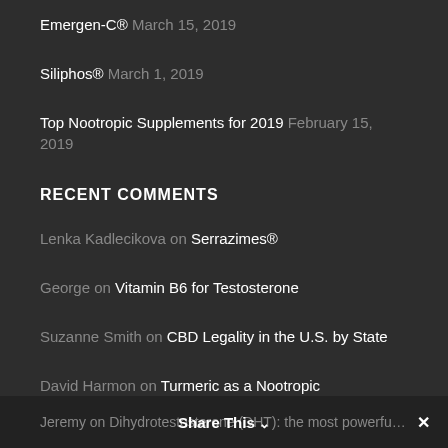Emergen-C® March 15, 2019
Siliphos® March 1, 2019
Top Nootropic Supplements for 2019 February 15, 2019
RECENT COMMENTS
Lenka Kadlecikova on Serrazimes®
George on Vitamin B6 for Testosterone
Suzanne Smith on CBD Legality in the U.S. by State
David Harmon on Turmeric as a Nootropic
cresilda on Alpha Lipoic Acid for Blood Sugar
Jeremy on Dihydrotestosterone (DHT): the most powerful and   Share This ∨   ✕